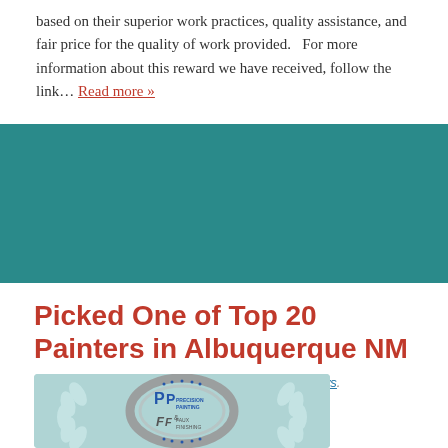based on their superior work practices, quality assistance, and fair price for the quality of work provided.   For more information about this reward we have received, follow the link… Read more »
Picked One of Top 20 Painters in Albuquerque NM
Posted May 26th, 2016 by admin & filed under News.
[Figure (logo): Precision Painting & Faux Finishing company logo with circular design on teal laurel wreath background]